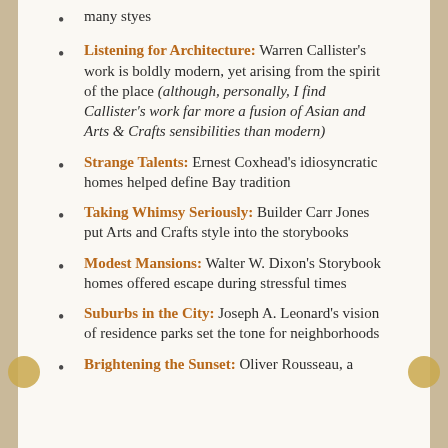many styes
Listening for Architecture: Warren Callister's work is boldly modern, yet arising from the spirit of the place (although, personally, I find Callister's work far more a fusion of Asian and Arts & Crafts sensibilities than modern)
Strange Talents: Ernest Coxhead's idiosyncratic homes helped define Bay tradition
Taking Whimsy Seriously: Builder Carr Jones put Arts and Crafts style into the storybooks
Modest Mansions: Walter W. Dixon's Storybook homes offered escape during stressful times
Suburbs in the City: Joseph A. Leonard's vision of residence parks set the tone for neighborhoods
Brightening the Sunset: Oliver Rousseau, a